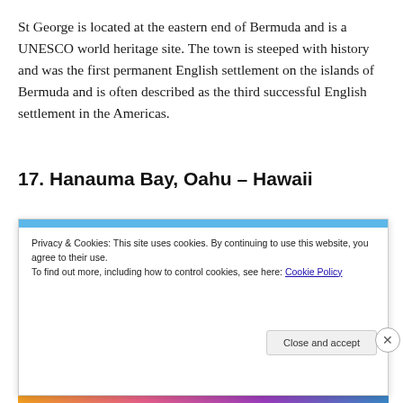St George is located at the eastern end of Bermuda and is a UNESCO world heritage site. The town is steeped with history and was the first permanent English settlement on the islands of Bermuda and is often described as the third successful English settlement in the Americas.
17. Hanauma Bay, Oahu – Hawaii
Privacy & Cookies: This site uses cookies. By continuing to use this website, you agree to their use.
To find out more, including how to control cookies, see here: Cookie Policy